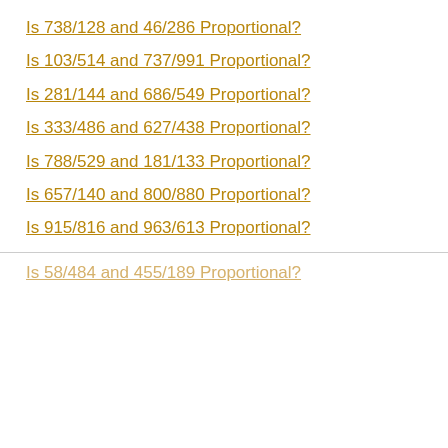Is 738/128 and 46/286 Proportional?
Is 103/514 and 737/991 Proportional?
Is 281/144 and 686/549 Proportional?
Is 333/486 and 627/438 Proportional?
Is 788/529 and 181/133 Proportional?
Is 657/140 and 800/880 Proportional?
Is 915/816 and 963/613 Proportional?
Is 58/484 and 455/189 Proportional?